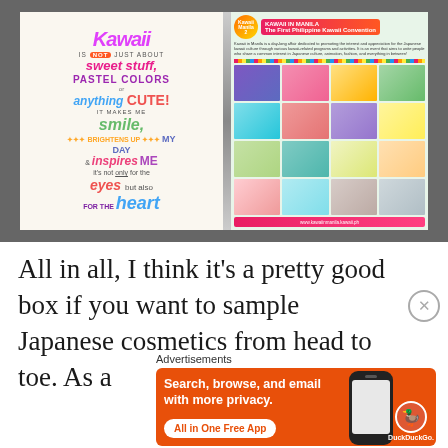[Figure (photo): Photo of an open kawaii-themed booklet/magazine lying on a gray surface. Left page has colorful hand-lettered text reading: Kawaii is NOT just about sweet stuff, PASTEL COLORS or anything CUTE! it makes me smile, BRIGHTENS UP MY DAY & inspires ME it's not only for the eyes but also FOR THE heart. Right page shows 'KAWAII IN MANILA 2' branding with a grid of event photos and a pink banner footer with a website URL.]
All in all, I think it's a pretty good box if you want to sample Japanese cosmetics from head to toe. As a
[Figure (photo): DuckDuckGo advertisement banner with orange background. Left side shows bold white text: 'Search, browse, and email with more privacy.' with a white pill button 'All in One Free App'. Right side shows a smartphone with the DuckDuckGo duck logo and the text 'DuckDuckGo.']